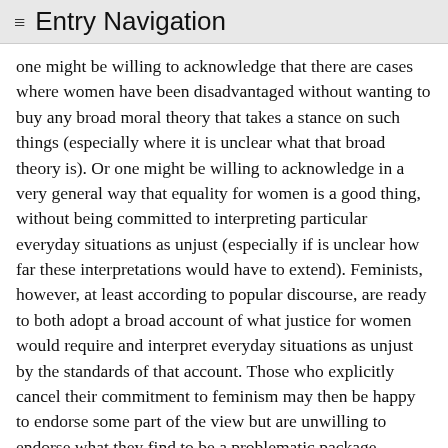≡ Entry Navigation
one might be willing to acknowledge that there are cases where women have been disadvantaged without wanting to buy any broad moral theory that takes a stance on such things (especially where it is unclear what that broad theory is). Or one might be willing to acknowledge in a very general way that equality for women is a good thing, without being committed to interpreting particular everyday situations as unjust (especially if is unclear how far these interpretations would have to extend). Feminists, however, at least according to popular discourse, are ready to both adopt a broad account of what justice for women would require and interpret everyday situations as unjust by the standards of that account. Those who explicitly cancel their commitment to feminism may then be happy to endorse some part of the view but are unwilling to endorse what they find to be a problematic package.
As mentioned above, there is considerable debate within feminism concerning the normative question: what would constitute (full) justice for women? What is the nature of a...